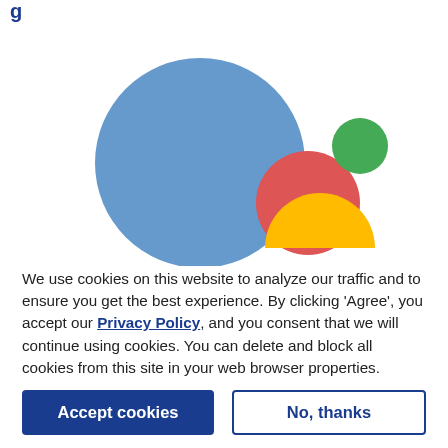[Figure (illustration): Google Assistant-style logo: large blue circle on the left, medium red circle bottom-center, small green circle upper-right, yellow semicircle at the bottom — arranged to suggest a person/face icon.]
We use cookies on this website to analyze our traffic and to ensure you get the best experience. By clicking 'Agree', you accept our Privacy Policy, and you consent that we will continue using cookies. You can delete and block all cookies from this site in your web browser properties.
Accept cookies
No, thanks